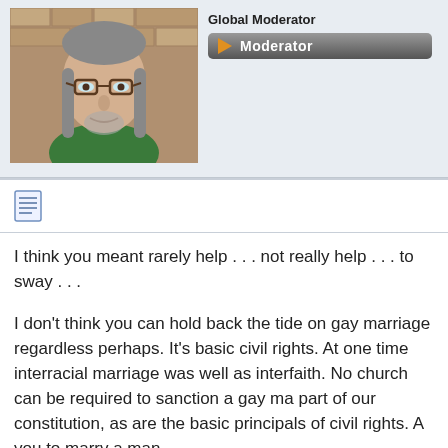[Figure (photo): Profile photo of a middle-aged man with glasses and long gray hair, wearing a green shirt, against a brick wall background]
Global Moderator
[Figure (other): Moderator badge: dark gray pill-shaped button with orange play arrow and white text reading 'Moderator']
[Figure (other): Document/post icon]
I think you meant rarely help . . . not really help . . . to sway . . .
I don't think you can hold back the tide on gay marriage regardless perhaps. It's basic civil rights. At one time interracial marriage was well as interfaith. No church can be required to sanction a gay ma part of our constitution, as are the basic principals of civil rights. A you to marry a man.
On abortion I wonder what gives you the right to choose for the wo life. If we have all these babies, which party is more likely to help h sanctity of life that concerns you, why is the death penalty such a